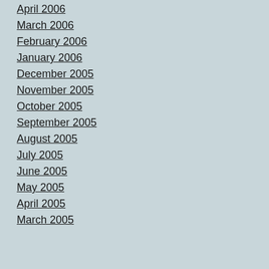April 2006
March 2006
February 2006
January 2006
December 2005
November 2005
October 2005
September 2005
August 2005
July 2005
June 2005
May 2005
April 2005
March 2005